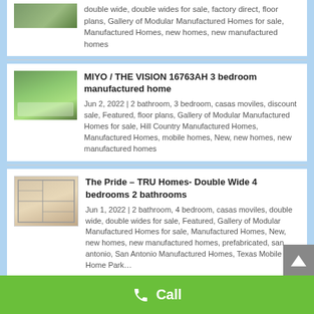double wide, double wides for sale, factory direct, floor plans, Gallery of Modular Manufactured Homes for sale, Manufactured Homes, new homes, new manufactured homes
MIYO / THE VISION 16763AH 3 bedroom manufactured home
Jun 2, 2022 | 2 bathroom, 3 bedroom, casas moviles, discount sale, Featured, floor plans, Gallery of Modular Manufactured Homes for sale, Hill Country Manufactured Homes, Manufactured Homes, mobile homes, New, new homes, new manufactured homes
The Pride – TRU Homes- Double Wide 4 bedrooms 2 bathrooms
Jun 1, 2022 | 2 bathroom, 4 bedroom, casas moviles, double wide, double wides for sale, Featured, Gallery of Modular Manufactured Homes for sale, Manufactured Homes, New, new homes, new manufactured homes, prefabricated, san antonio, San Antonio Manufactured Homes, Texas Mobile Home Park…